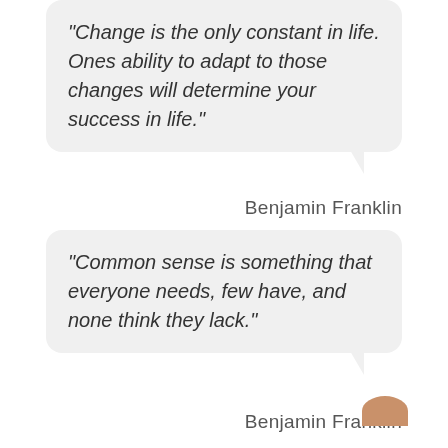“Change is the only constant in life. Ones ability to adapt to those changes will determine your success in life.”
Benjamin Franklin
“Common sense is something that everyone needs, few have, and none think they lack.”
Benjamin Franklin